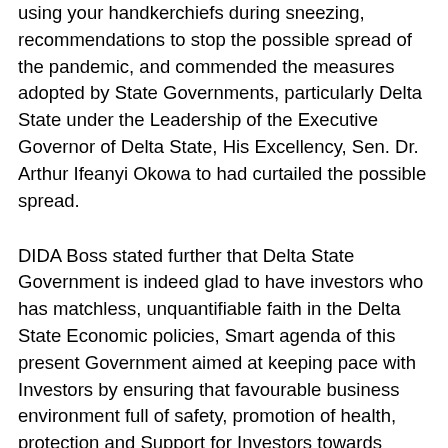using your handkerchiefs during sneezing, recommendations to stop the possible spread of the pandemic, and commended the measures adopted by State Governments, particularly Delta State under the Leadership of the Executive Governor of Delta State, His Excellency, Sen. Dr. Arthur Ifeanyi Okowa to had curtailed the possible spread.
DIDA Boss stated further that Delta State Government is indeed glad to have investors who has matchless, unquantifiable faith in the Delta State Economic policies, Smart agenda of this present Government aimed at keeping pace with Investors by ensuring that favourable business environment full of safety, promotion of health, protection and Support for Investors towards Sustainable Economic Growth and Development as the ban placed on human and vehicular movement, inter- state transportation.
He noted that some Economic activities has been restricted in virtually all the cities in Delta State, and amongst the grassroots populace and had caused low productivity through